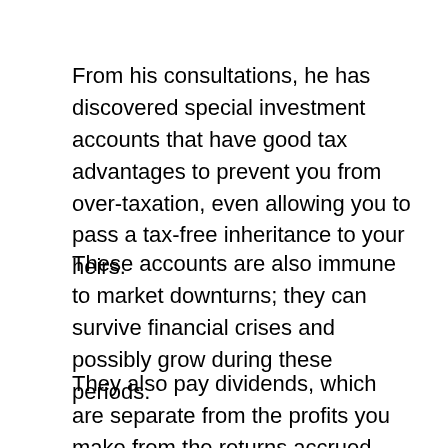From his consultations, he has discovered special investment accounts that have good tax advantages to prevent you from over-taxation, even allowing you to pass a tax-free inheritance to your heirs.
These accounts are also immune to market downturns; they can survive financial crises and possibly grow during these periods.
They also pay dividends, which are separate from the profits you make from the returns accrued from your investments.